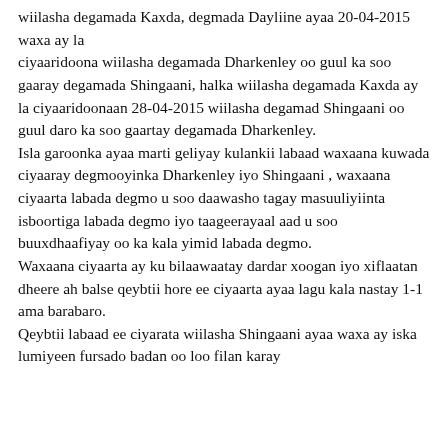wiilasha degamada Kaxda, degmada Dayliine ayaa 20-04-2015 waxa ay la ciyaaridoona wiilasha degamada Dharkenley oo guul ka soo gaaray degamada Shingaani, halka wiilasha degamada Kaxda ay la ciyaaridoonaan 28-04-2015 wiilasha degamad Shingaani oo guul daro ka soo gaartay degamada Dharkenley. Isla garoonka ayaa marti geliyay kulankii labaad waxaana kuwada ciyaaray degmooyinka Dharkenley iyo Shingaani , waxaana ciyaarta labada degmo u soo daawasho tagay masuuliyiinta isboortiga labada degmo iyo taageerayaal aad u soo buuxdhaafiyay oo ka kala yimid labada degmo. Waxaana ciyaarta ay ku bilaawaatay dardar xoogan iyo xiflaatan dheere ah balse qeybtii hore ee ciyaarta ayaa lagu kala nastay 1-1 ama barabaro. Qeybtii labaad ee ciyarata wiilasha Shingaani ayaa waxa ay iska lumiyeen fursado badan oo loo filan karay